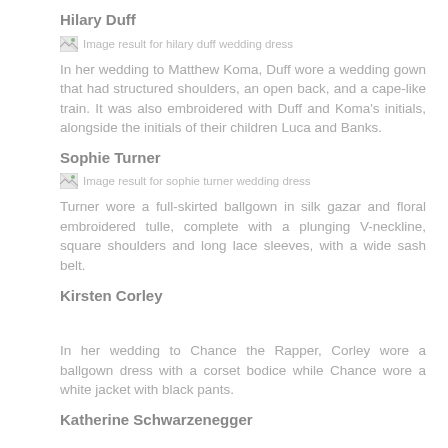Hilary Duff
[Figure (photo): Broken image placeholder: Image result for hilary duff wedding dress]
In her wedding to Matthew Koma, Duff wore a wedding gown that had structured shoulders, an open back, and a cape-like train. It was also embroidered with Duff and Koma's initials, alongside the initials of their children Luca and Banks.
Sophie Turner
[Figure (photo): Broken image placeholder: Image result for sophie turner wedding dress]
Turner wore a full-skirted ballgown in silk gazar and floral embroidered tulle, complete with a plunging V-neckline, square shoulders and long lace sleeves, with a wide sash belt.
Kirsten Corley
In her wedding to Chance the Rapper, Corley wore a ballgown dress with a corset bodice while Chance wore a white jacket with black pants.
Katherine Schwarzenegger